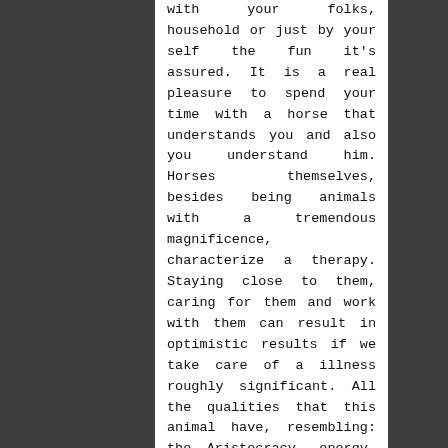with your folks, household or just by your self the fun it's assured. It is a real pleasure to spend your time with a horse that understands you and also you understand him. Horses themselves, besides being animals with a tremendous magnificence, characterize a therapy. Staying close to them, caring for them and work with them can result in optimistic results if we take care of a illness roughly significant. All the qualities that this animal have, resembling: the Aristocracy, energy, grandeur, tenderness, warmth and vitality give a consolation feeling to human beings. The relationship between this animal and people is based on senses and not on mental